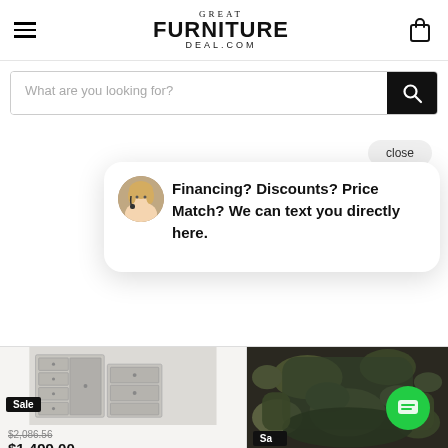Great FurnitureDeal.com
What are you looking for?
close
Financing? Discounts? Price Match? We can text you directly here.
[Figure (photo): Mirrored silver dresser/console furniture piece with drawers]
Sale
$2,086.56
$1,499.00
[Figure (photo): Camouflage upholstered recliner chair]